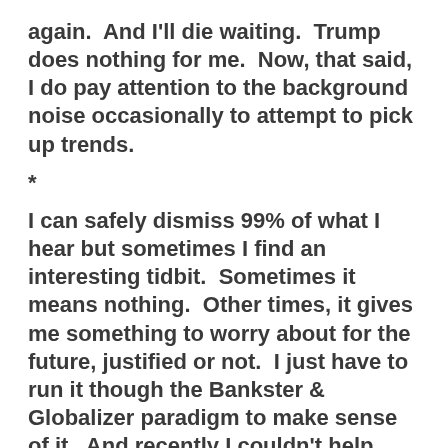again.  And I'll die waiting.  Trump does nothing for me.  Now, that said, I do pay attention to the background noise occasionally to attempt to pick up trends.
*
I can safely dismiss 99% of what I hear but sometimes I find an interesting tidbit.  Sometimes it means nothing.  Other times, it gives me something to worry about for the future, justified or not.  I just have to run it though the Bankster & Globalizer paradigm to make sense of it.  And recently I couldn't help pick up on everyone orgasmicly writing about how Trump is all jiggy with America #1 and